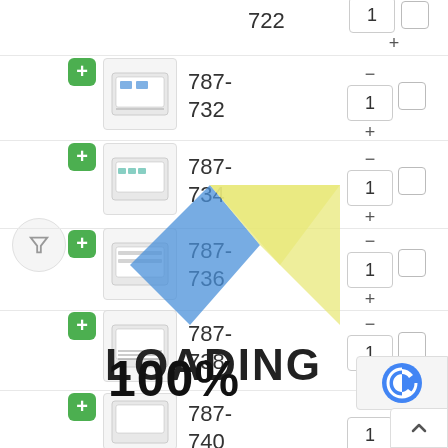[Figure (screenshot): Product listing interface showing items 722, 787-732, 787-734, 787-736, 787-738, 787-740, 787-742 with quantity controls, add buttons, checkboxes, and a loading overlay with logo]
722
787-732
787-734
787-736
787-738
787-740
787-742